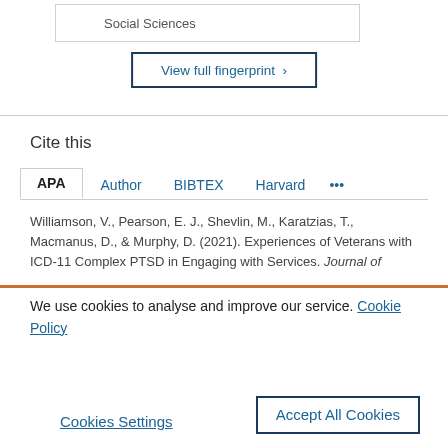Social Sciences
View full fingerprint >
Cite this
APA | Author | BIBTEX | Harvard | ...
Williamson, V., Pearson, E. J., Shevlin, M., Karatzias, T., Macmanus, D., & Murphy, D. (2021). Experiences of Veterans with ICD-11 Complex PTSD in Engaging with Services. Journal of
We use cookies to analyse and improve our service. Cookie Policy
Cookies Settings
Accept All Cookies